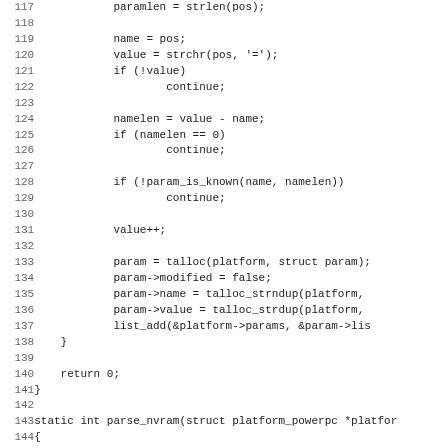[Figure (other): Source code listing in C, lines 117-148+, showing parameter parsing logic including strlen, strchr, talloc, and parse_nvram function definition]